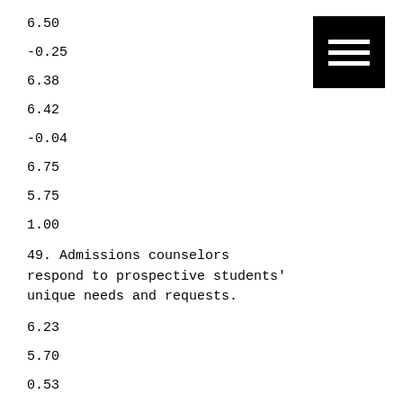6.50
-0.25
6.38
6.42
-0.04
6.75
5.75
1.00
49. Admissions counselors respond to prospective students' unique needs and requests.
6.23
5.70
0.53
5.30
5.64
[Figure (other): Black square icon with three horizontal white lines (hamburger/menu icon)]